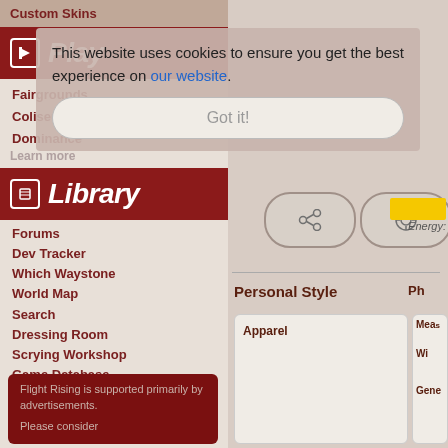Custom Skins
Play
Fairgrounds
Coliseum
Dominance
Learn more
Library
Forums
Dev Tracker
Which Waystone
World Map
Search
Dressing Room
Scrying Workshop
Game Database
Encyclopedia
Support
This website uses cookies to ensure you get the best experience on our website.
Got it!
Energy:
Personal Style
Ph...
Apparel
Meas...
Wi...
Gene
Flight Rising is supported primarily by advertisements.

Please consider